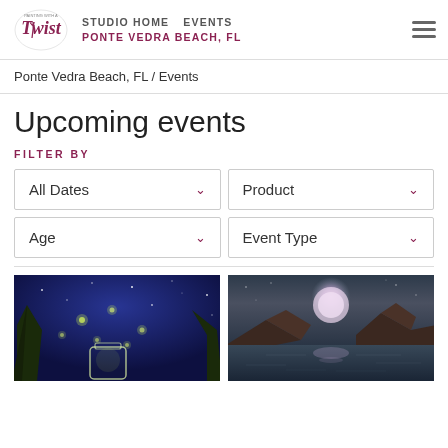STUDIO HOME   EVENTS   PONTE VEDRA BEACH, FL
Ponte Vedra Beach, FL / Events
Upcoming events
FILTER BY
All Dates
Product
Age
Event Type
[Figure (photo): Painting of a blue starry night with fireflies in a jar, glowing green/yellow lights against dark blue background with trees]
[Figure (photo): Painting of a moonlit night over water with mountains/islands silhouette, pastel pink and purple sky reflecting on water]